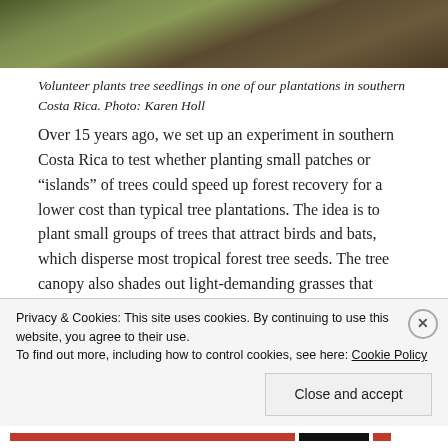[Figure (photo): Photo of ground with grass, leaves, and vegetation — top portion of a nature/forest plantation scene]
Volunteer plants tree seedlings in one of our plantations in southern Costa Rica. Photo: Karen Holl
Over 15 years ago, we set up an experiment in southern Costa Rica to test whether planting small patches or “islands” of trees could speed up forest recovery for a lower cost than typical tree plantations. The idea is to plant small groups of trees that attract birds and bats, which disperse most tropical forest tree seeds. The tree canopy also shades out light-demanding grasses that
Privacy & Cookies: This site uses cookies. By continuing to use this website, you agree to their use.
To find out more, including how to control cookies, see here: Cookie Policy
Close and accept